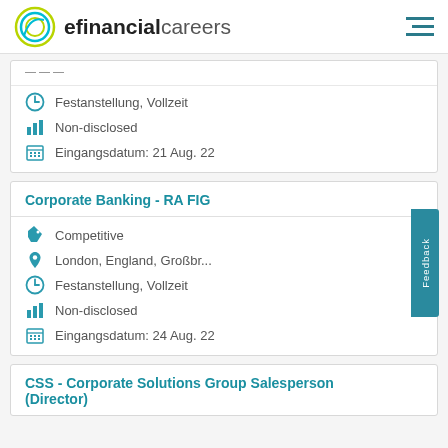efinancialcareers
Festanstellung, Vollzeit
Non-disclosed
Eingangsdatum:  21 Aug. 22
Corporate Banking - RA FIG
Competitive
London, England, Großbr...
Festanstellung, Vollzeit
Non-disclosed
Eingangsdatum:  24 Aug. 22
CSS - Corporate Solutions Group Salesperson (Director)